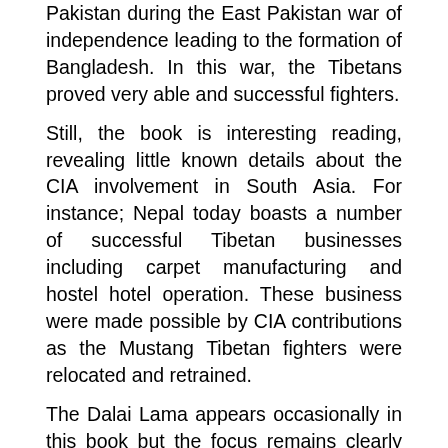Pakistan during the East Pakistan war of independence leading to the formation of Bangladesh. In this war, the Tibetans proved very able and successful fighters.
Still, the book is interesting reading, revealing little known details about the CIA involvement in South Asia. For instance; Nepal today boasts a number of successful Tibetan businesses including carpet manufacturing and hostel hotel operation. These business were made possible by CIA contributions as the Mustang Tibetan fighters were relocated and retrained.
The Dalai Lama appears occasionally in this book but the focus remains clearly on CIA activities.
Manchurian Adventure; Sylvain Mangeot 1974.
Manchurian Adventure is an incredible tale of a Chinese Manchurian soldier of fortune. Trained by